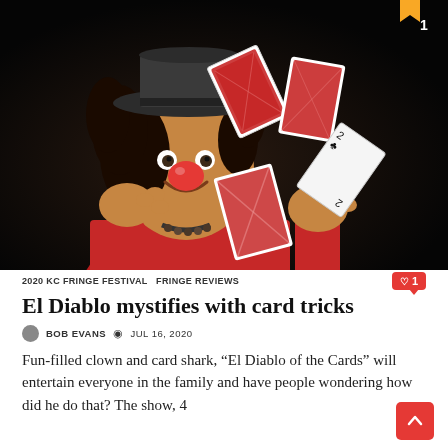[Figure (photo): A performer with a red clown nose wearing a red shirt and black hat, smiling and tossing playing cards against a dark background. Several cards are mid-air.]
2020 KC FRINGE FESTIVAL   FRINGE REVIEWS
El Diablo mystifies with card tricks
BOB EVANS   JUL 16, 2020
Fun-filled clown and card shark, “El Diablo of the Cards” will entertain everyone in the family and have people wondering how did he do that? The show, 4…